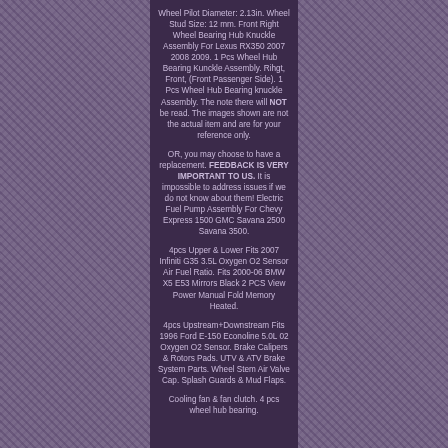Wheel Pilot Diameter: 2.13in. Wheel Stud Size: 12 mm. Front Right Wheel Bearing Hub Knuckle Assembly For Lexus RX350 2007 2008 2009. 1 Pcs Wheel Hub Bearing Kunckle Assembly. Rihgt, Front, (Front Passenger Side). 1 Pcs Wheel Hub Bearing knuckle Assembly. The note there will NOT be read. The images shown are not the actual item and are for your reference only.
OR, you may choose to have a replacement. FEEDBACK IS VERY IMPORTANT TO US. It is impossible to address issues if we do not know about them! Electric Fuel Pump Assembly For Chevy Express 1500 GMC Savana 2500 Savana 3500.
4pcs Upper & Lower Fits 2007 Infiniti G35 3.5L Oxygen O2 Sensor Air Fuel Ratio. Fits 2000-06 BMW X5 E53 Mirrors Black 2 PCS View Power Manual Fold Memory Heated.
4pcs Upstream+Downstream Fits 1996 Ford E-150 Econoline 5.0L 02 Oxygen O2 Sensor. Brake Calipers & Rotors Pads. UTV & ATV Brake System Parts. Wheel Stem Air Valve Cap. Splash Guards & Mud Flaps.
Cooling fan & fan clutch. 4 pcs wheel hub bearing.